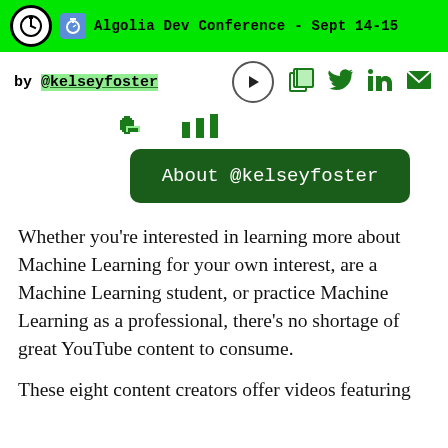Algolia Dev Conference - Sept 14-15
by @kelseyfoster
[Figure (screenshot): Partial icons row showing pixelated green icons]
[Figure (other): About @kelseyfoster green button]
Whether you're interested in learning more about Machine Learning for your own interest, are a Machine Learning student, or practice Machine Learning as a professional, there's no shortage of great YouTube content to consume.
These eight content creators offer videos featuring